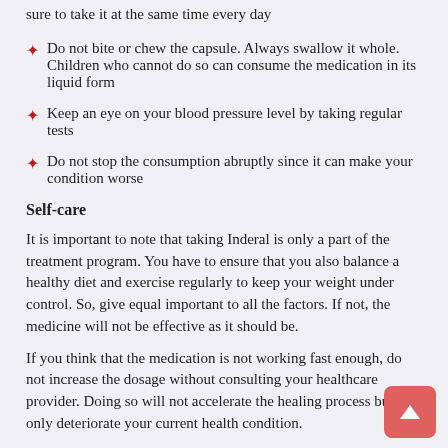sure to take it at the same time every day
Do not bite or chew the capsule. Always swallow it whole. Children who cannot do so can consume the medication in its liquid form
Keep an eye on your blood pressure level by taking regular tests
Do not stop the consumption abruptly since it can make your condition worse
Self-care
It is important to note that taking Inderal is only a part of the treatment program. You have to ensure that you also balance a healthy diet and exercise regularly to keep your weight under control. So, give equal important to all the factors. If not, the medicine will not be effective as it should be.
If you think that the medication is not working fast enough, do not increase the dosage without consulting your healthcare provider. Doing so will not accelerate the healing process but will only deteriorate your current health condition.
RELATED PRODUCTS